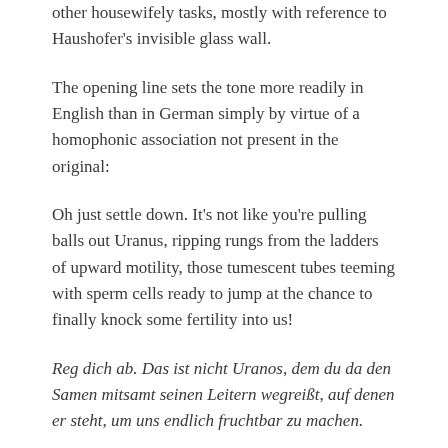other housewifely tasks, mostly with reference to Haushofer's invisible glass wall.
The opening line sets the tone more readily in English than in German simply by virtue of a homophonic association not present in the original:
Oh just settle down. It's not like you're pulling balls out Uranus, ripping rungs from the ladders of upward motility, those tumescent tubes teeming with sperm cells ready to jump at the chance to finally knock some fertility into us!
Reg dich ab. Das ist nicht Uranos, dem du da den Samen mitsamt seinen Leitern wegreißt, auf denen er steht, um uns endlich fruchtbar zu machen.